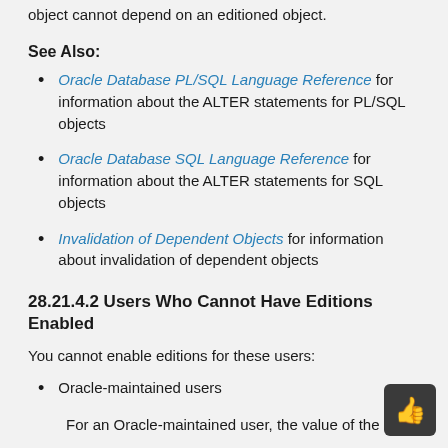object cannot depend on an editioned object.
See Also:
Oracle Database PL/SQL Language Reference for information about the ALTER statements for PL/SQL objects
Oracle Database SQL Language Reference for information about the ALTER statements for SQL objects
Invalidation of Dependent Objects for information about invalidation of dependent objects
28.21.4.2 Users Who Cannot Have Editions Enabled
You cannot enable editions for these users:
Oracle-maintained users
For an Oracle-maintained user, the value of the